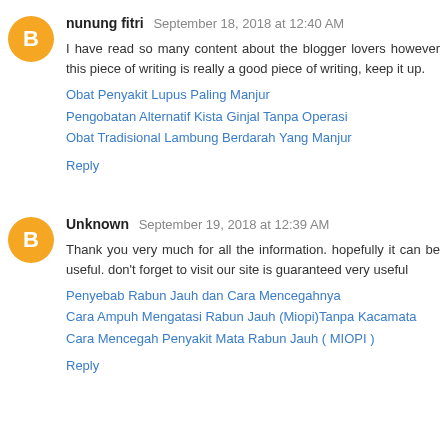nunung fitri  September 18, 2018 at 12:40 AM
I have read so many content about the blogger lovers however this piece of writing is really a good piece of writing, keep it up.
Obat Penyakit Lupus Paling Manjur
Pengobatan Alternatif Kista Ginjal Tanpa Operasi
Obat Tradisional Lambung Berdarah Yang Manjur
Reply
Unknown  September 19, 2018 at 12:39 AM
Thank you very much for all the information. hopefully it can be useful. don't forget to visit our site is guaranteed very useful
Penyebab Rabun Jauh dan Cara Mencegahnya
Cara Ampuh Mengatasi Rabun Jauh (Miopi)Tanpa Kacamata
Cara Mencegah Penyakit Mata Rabun Jauh ( MIOPI )
Reply